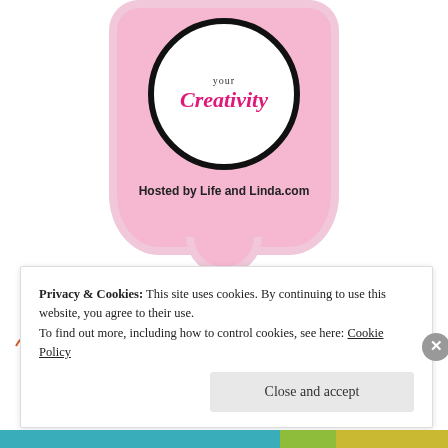[Figure (logo): Pink badge/shield logo with a black circle in the center containing italic pink text 'Creativity' and text above it. Below the circle reads 'Hosted by Life and Linda.com' in bold.]
[Figure (illustration): Small pink/red stick-figure people icons in a row]
Privacy & Cookies: This site uses cookies. By continuing to use this website, you agree to their use.
To find out more, including how to control cookies, see here: Cookie Policy
Close and accept